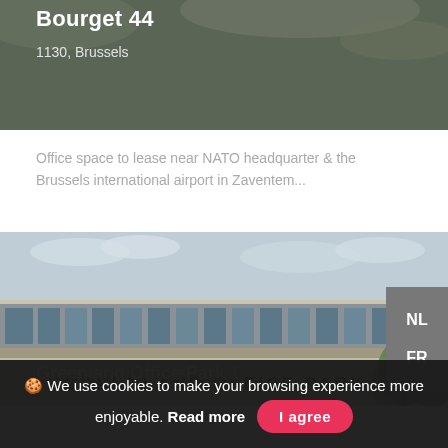Bourget 44
1130, Brussels
Office space to lease near NATO headquarter & the Brussels international airport in Zaventem...
[Figure (photo): Office building photo - Greenland Office Park 1]
Greenland Office Park 1
🍪 We use cookies to make your browsing experience more enjoyable. Read more  I agree